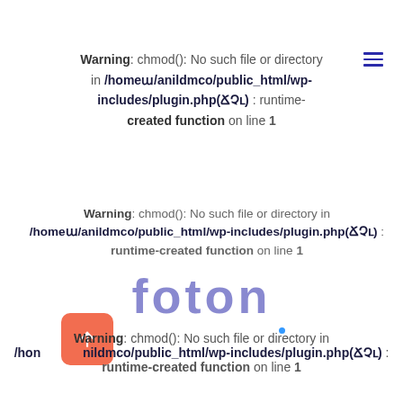Warning: chmod(): No such file or directory in /homeM/anildmco/public_html/wp-includes/plugin.php(FMY) : runtime-created function on line 1
Warning: chmod(): No such file or directory in /homeM/anildmco/public_html/wp-includes/plugin.php(FMY) : runtime-created function on line 1
[Figure (other): foton watermark/logo text overlay]
Warning: chmod(): No such file or directory in /homeM/anildmco/public_html/wp-includes/plugin.php(FMY) : runtime-created function on line 1
Warning: chmod(): No such file or directory in /homeM/anildmco/public_html/wp-includes/plugin.php(FMY) : runtime-created function on line 1
Warning: chmod(): No such file or directory in /homeM/anildmco/public_html/wp-includes/plugin.php(FMY) :runtime-created function on line 1
[Figure (other): Orange scroll-to-top button with upward arrow]